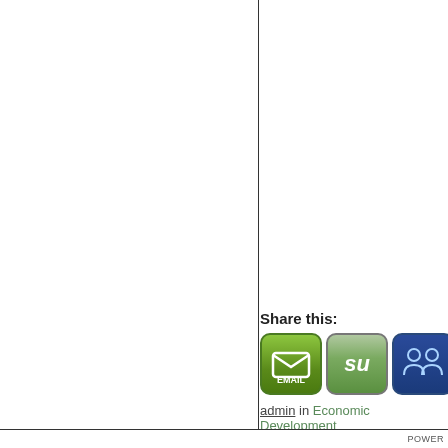Share this:
[Figure (screenshot): Social sharing buttons: EMAIL (green), StumbleUpon (green/gray), LinkedIn-style people icon (dark blue), Facebook partial button (blue)]
admin in Economic Development
POWER